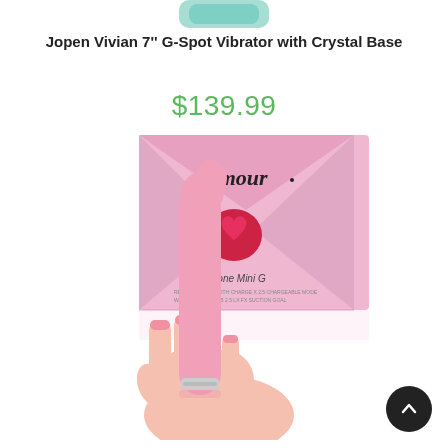[Figure (photo): Small teal/mint colored product partially visible at the very top of the page]
Jopen Vivian 7'' G-Spot Vibrator with Crystal Base
$139.99
[Figure (photo): Pink Amour Silicone Mini G vibrator held in a woman's hand with pink nails, with pink envelope-style product box (Amour brand, red heart wax seal, 'Silicone Mini G' text) in the background]